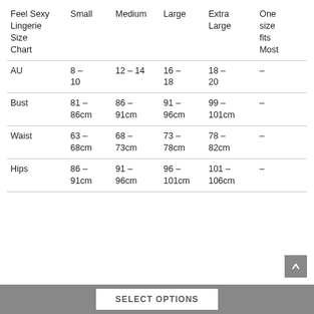| Feel Sexy Lingerie Size Chart | Small | Medium | Large | Extra Large | One size fits Most |
| --- | --- | --- | --- | --- | --- |
| AU | 8 – 10 | 12 – 14 | 16 – 18 | 18 – 20 | – |
| Bust | 81 – 86cm | 86 – 91cm | 91 – 96cm | 99 – 101cm | – |
| Waist | 63 – 68cm | 68 – 73cm | 73 – 78cm | 78 – 82cm | – |
| Hips | 86 – 91cm | 91 – 96cm | 96 – 101cm | 101 – 106cm | – |
SELECT OPTIONS